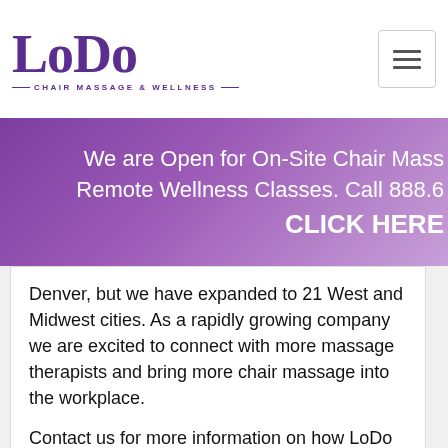[Figure (logo): LoDo Chair Massage & Wellness logo with purple serif text]
We are Open for On-Site Chair Mass... Remote Wellness Classes. Call 888.6... CLICK HERE
Denver, but we have expanded to 21 West and Midwest cities. As a rapidly growing company we are excited to connect with more massage therapists and bring more chair massage into the workplace.
Contact us for more information on how LoDo Chair Massage can become a part of your successful massage career!
< Go Back